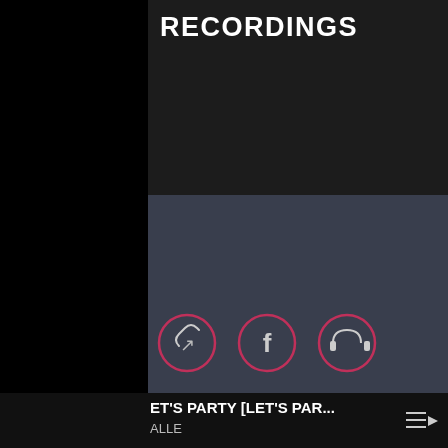RECORDINGS
[Figure (screenshot): Three circular icon buttons with red/pink borders: a link/chain icon, a Facebook icon, and a headphones icon]
ET'S PARTY [LET'S PAR...
ALLE